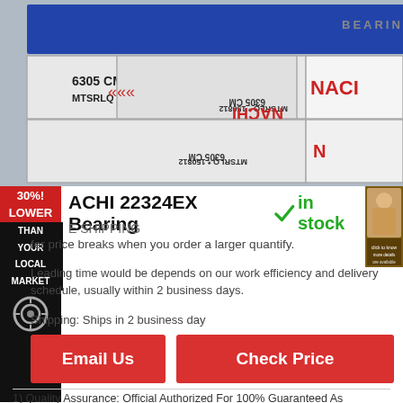[Figure (photo): Photo of NACHI bearing boxes stacked, showing '6305 CM MTSRLQ 150812' labels, blue and white color scheme with NACHI branding and BEARINGS text visible]
NACHI 22324EX Bearing ✓ in stock
FREE SHIPPING
Offer price breaks when you order a larger quantify.
Leading time would be depends on our work efficiency and delivery schedule, usually within 2 business days.
Shipping: Ships in 2 business day
Email Us
Check Price
1) Quality Assurance: Official Authorized For 100% Guaranteed As Described